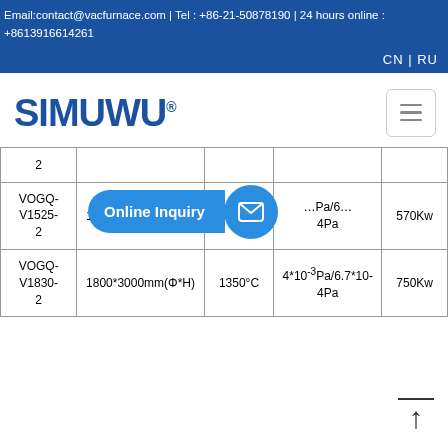Email:contact@vacfurnace.com | Tel : +86-21-50878190 | 24 hours online : +8613916614261
CN | RU
[Figure (logo): SIMUWU brand logo in dark blue bold text with registered trademark symbol]
| Model | Size | Temperature | Vacuum | Power |
| --- | --- | --- | --- | --- |
| 2 |  |  |  |  |
| VOGQ-V1525-2 | 1500*2500mm(Φ*H) | 1350°C | 4*10-3Pa/6.7*10-4Pa | 570Kw |
| VOGQ-V1830-2 | 1800*3000mm(Φ*H) | 1350°C | 4*10-3Pa/6.7*10-4Pa | 750Kw |